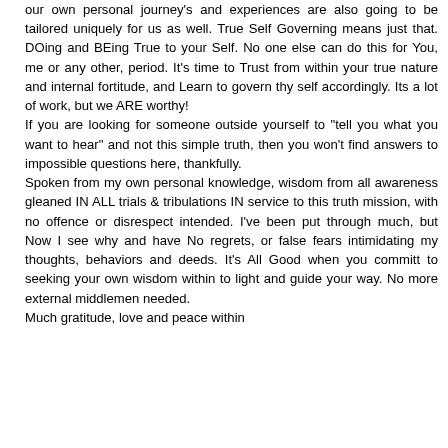our own personal journey's and experiences are also going to be tailored uniquely for us as well. True Self Governing means just that. DOing and BEing True to your Self. No one else can do this for You, me or any other, period. It's time to Trust from within your true nature and internal fortitude, and Learn to govern thy self accordingly. Its a lot of work, but we ARE worthy! If you are looking for someone outside yourself to "tell you what you want to hear" and not this simple truth, then you won't find answers to impossible questions here, thankfully. Spoken from my own personal knowledge, wisdom from all awareness gleaned IN ALL trials & tribulations IN service to this truth mission, with no offence or disrespect intended. I've been put through much, but Now I see why and have No regrets, or false fears intimidating my thoughts, behaviors and deeds. It's All Good when you committ to seeking your own wisdom within to light and guide your way. No more external middlemen needed. Much gratitude, love and peace within.